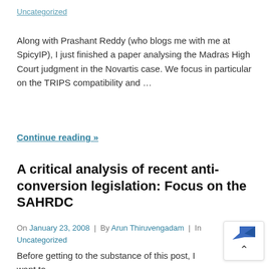Uncategorized
Along with Prashant Reddy (who blogs me with me at SpicyIP), I just finished a paper analysing the Madras High Court judgment in the Novartis case. We focus in particular on the TRIPS compatibility and …
Continue reading »
A critical analysis of recent anti-conversion legislation: Focus on the SAHRDC
On January 23, 2008 | By Arun Thiruvengadam | In Uncategorized
Before getting to the substance of this post, I want to